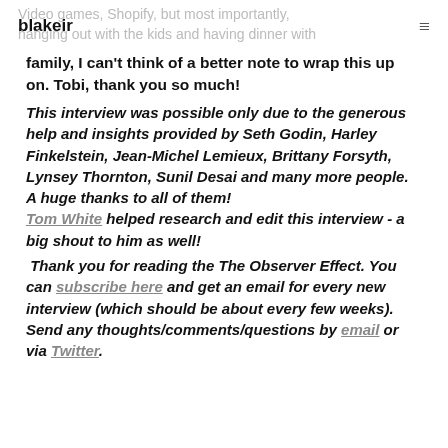blakeir
Video games, Shopify, but most importantly, hanging out with the kids and having dinner with family, I can't think of a better note to wrap this up on. Tobi, thank you so much!
This interview was possible only due to the generous help and insights provided by Seth Godin, Harley Finkelstein, Jean-Michel Lemieux, Brittany Forsyth, Lynsey Thornton, Sunil Desai and many more people. A huge thanks to all of them! Tom White helped research and edit this interview - a big shout to him as well!
Thank you for reading the The Observer Effect. You can subscribe here and get an email for every new interview (which should be about every few weeks). Send any thoughts/comments/questions by email or via Twitter.